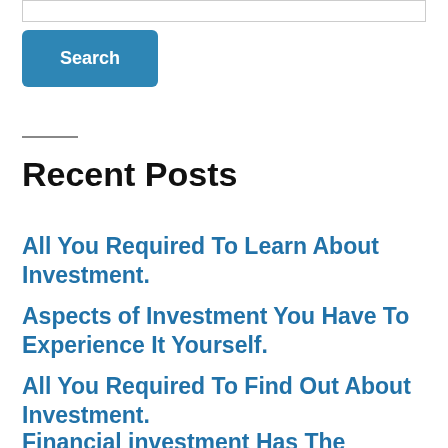Recent Posts
All You Required To Learn About Investment.
Aspects of Investment You Have To Experience It Yourself.
All You Required To Find Out About Investment.
Financial investment Has The...